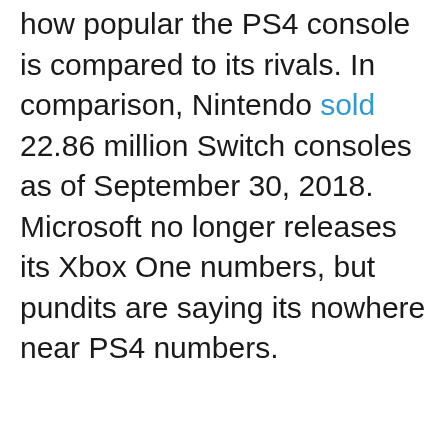how popular the PS4 console is compared to its rivals. In comparison, Nintendo sold 22.86 million Switch consoles as of September 30, 2018. Microsoft no longer releases its Xbox One numbers, but pundits are saying its nowhere near PS4 numbers.